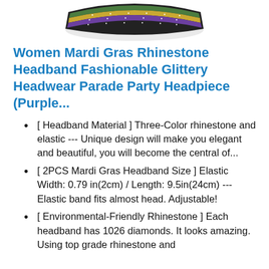[Figure (photo): Photo of a multi-colored Mardi Gras rhinestone headband with green, gold, and purple stripes, viewed from above at an angle.]
Women Mardi Gras Rhinestone Headband Fashionable Glittery Headwear Parade Party Headpiece (Purple...
[ Headband Material ] Three-Color rhinestone and elastic --- Unique design will make you elegant and beautiful, you will become the central of...
[ 2PCS Mardi Gras Headband Size ] Elastic Width: 0.79 in(2cm) / Length: 9.5in(24cm) --- Elastic band fits almost head. Adjustable!
[ Environmental-Friendly Rhinestone ] Each headband has 1026 diamonds. It looks amazing. Using top grade rhinestone and